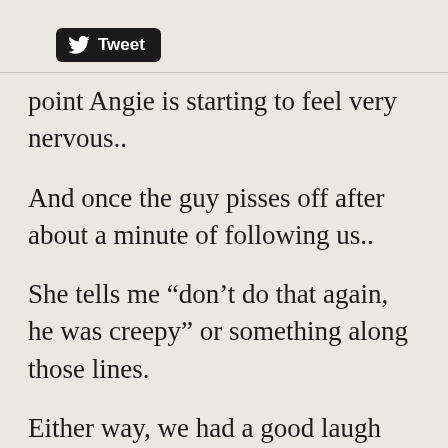[Figure (other): Twitter Tweet button with bird logo]
point Angie is starting to feel very nervous..
And once the guy pisses off after about a minute of following us..
She tells me “don’t do that again, he was creepy” or something along those lines.
Either way, we had a good laugh